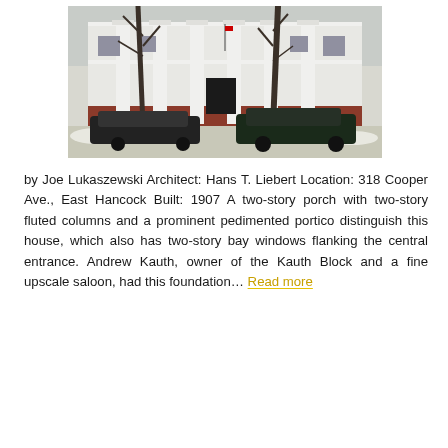[Figure (photo): Exterior photograph of a two-story white colonial-style house at 318 Cooper Ave., East Hancock, featuring prominent white fluted columns, a pedimented portico, two-story bay windows, and a red brick base. Bare winter trees stand in front, and two dark-colored cars are parked in the foreground with snow visible.]
by Joe Lukaszewski Architect: Hans T. Liebert Location: 318 Cooper Ave., East Hancock Built: 1907 A two-story porch with two-story fluted columns and a prominent pedimented portico distinguish this house, which also has two-story bay windows flanking the central entrance. Andrew Kauth, owner of the Kauth Block and a fine upscale saloon, had this foundation… Read more